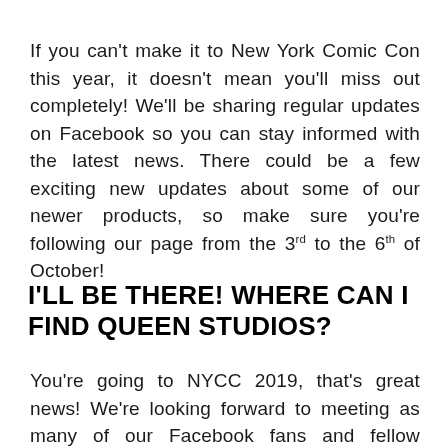If you can't make it to New York Comic Con this year, it doesn't mean you'll miss out completely! We'll be sharing regular updates on Facebook so you can stay informed with the latest news. There could be a few exciting new updates about some of our newer products, so make sure you're following our page from the 3rd to the 6th of October!
I'LL BE THERE! WHERE CAN I FIND QUEEN STUDIOS?
You're going to NYCC 2019, that's great news! We're looking forward to meeting as many of our Facebook fans and fellow collectors as possible. Finding us should be pretty straight forward, but we